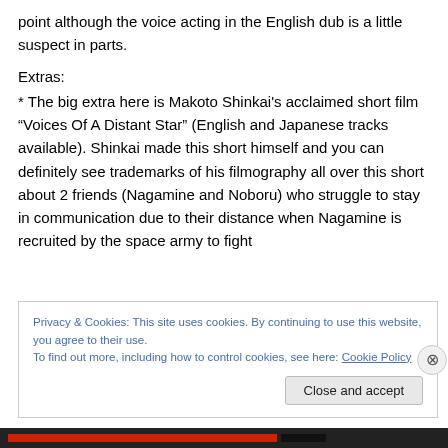point although the voice acting in the English dub is a little suspect in parts.
Extras:
* The big extra here is Makoto Shinkai’s acclaimed short film “Voices Of A Distant Star” (English and Japanese tracks available). Shinkai made this short himself and you can definitely see trademarks of his filmography all over this short about 2 friends (Nagamine and Noboru) who struggle to stay in communication due to their distance when Nagamine is recruited by the space army to fight
Privacy & Cookies: This site uses cookies. By continuing to use this website, you agree to their use.
To find out more, including how to control cookies, see here: Cookie Policy